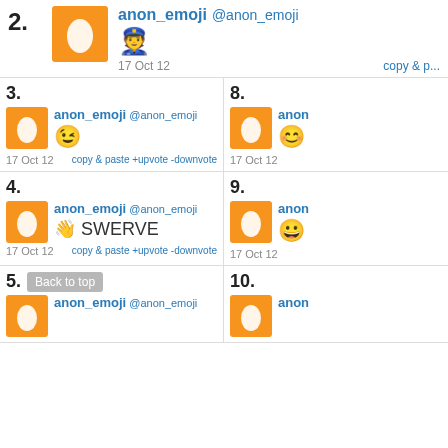2. anon_emoji @anon_emoji [emoji] 17 Oct 12 copy & p...
3. anon_emoji @anon_emoji [wink emoji] 17 Oct 12 copy & paste +upvote -downvote
8. anon [emoji] 17 Oct 12
4. anon_emoji @anon_emoji [wave emoji] SWERVE 17 Oct 12 copy & paste +upvote -downvote
9. anon [emoji] 17 Oct 12
5. Back to top | anon_emoji @anon_emoji
10. anon